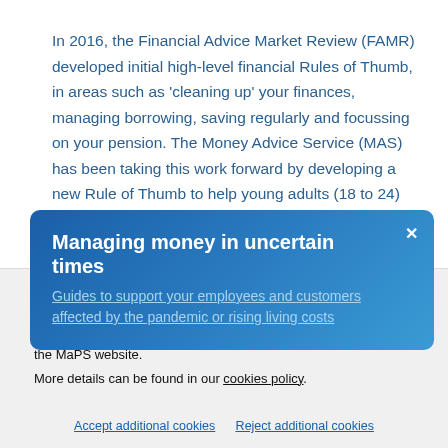In 2016, the Financial Advice Market Review (FAMR) developed initial high-level financial Rules of Thumb, in areas such as 'cleaning up' your finances, managing borrowing, saving regularly and focussing on your pension. The Money Advice Service (MAS) has been taking this work forward by developing a new Rule of Thumb to help young adults (18 to 24) use credit successfully. Previous MAS...
[Figure (infographic): Blue gradient banner overlay with title 'Managing money in uncertain times', a link 'Guides to support your employees and customers affected by the pandemic or rising living costs', and a close button (×).]
Cookies on maps.org.uk
We use some essential cookies to make this website work. We'd like to set additional cookies to understand how you use the MaPS website.
More details can be found in our cookies policy.
Accept additional cookies   Reject additional cookies